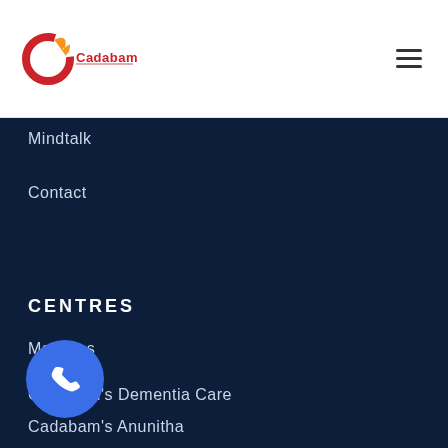[Figure (logo): Cadabam's logo with red and orange C icon and company name]
☰ (hamburger menu icon)
Mindtalk
Contact
CENTRES
Maldives
Cadabam's Dementia Care
Cadabam's Anunitha
[Figure (other): Blue circular phone/call button icon in bottom left]